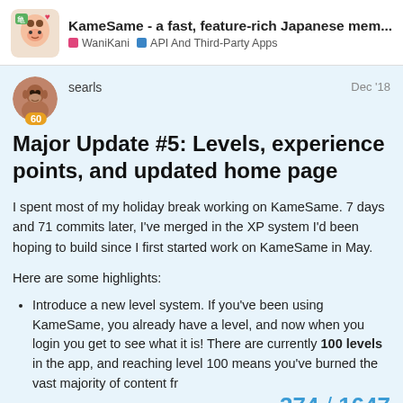KameSame - a fast, feature-rich Japanese mem... | WaniKani | API And Third-Party Apps
searls  Dec '18
Major Update #5: Levels, experience points, and updated home page
I spent most of my holiday break working on KameSame. 7 days and 71 commits later, I've merged in the XP system I'd been hoping to build since I first started work on KameSame in May.
Here are some highlights:
Introduce a new level system. If you've been using KameSame, you already have a level, and now when you login you get to see what it is! There are currently 100 levels in the app, and reaching level 100 means you've burned the vast majority of content fr
You level up by earning XP during re
374 / 1647